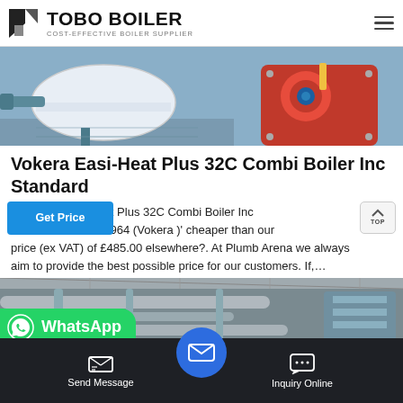TOBO BOILER — COST-EFFECTIVE BOILER SUPPLIER
[Figure (photo): Industrial boiler equipment with blue cylindrical tank and red motor/burner assembly in an industrial setting]
Vokera Easi-Heat Plus 32C Combi Boiler Inc Standard
n 'Vokera Easi-Heat Plus 32C Combi Boiler Inc rizontal Flue 20153964 (Vokera )' cheaper than our price (ex VAT) of £485.00 elsewhere?. At Plumb Arena we always aim to provide the best possible price for our customers. If,...
[Figure (photo): Industrial piping and ductwork inside a large warehouse or factory building]
WhatsApp
Send Message | Inquiry Online